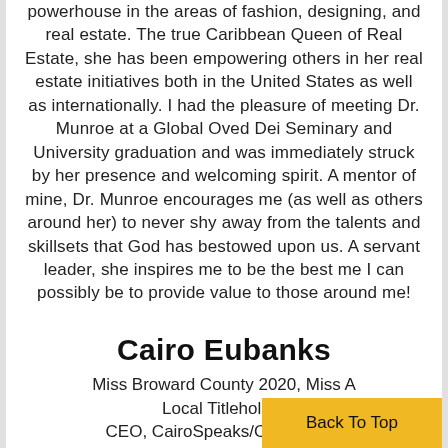powerhouse in the areas of fashion, designing, and real estate. The true Caribbean Queen of Real Estate, she has been empowering others in her real estate initiatives both in the United States as well as internationally. I had the pleasure of meeting Dr. Munroe at a Global Oved Dei Seminary and University graduation and was immediately struck by her presence and welcoming spirit. A mentor of mine, Dr. Munroe encourages me (as well as others around her) to never shy away from the talents and skillsets that God has bestowed upon us. A servant leader, she inspires me to be the best me I can possibly be to provide value to those around me!
Cairo Eubanks
Miss Broward County 2020, Miss A Local Titleholder CEO, CairoSpeaks/CairoWrites